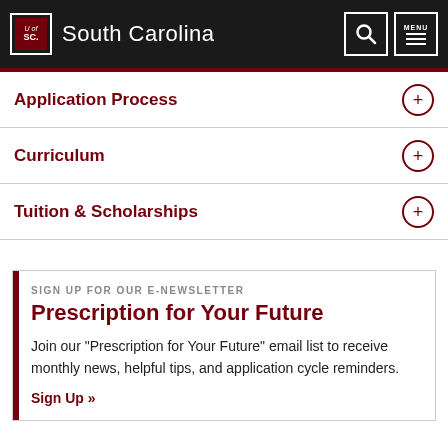University of South Carolina
Application Process
Curriculum
Tuition & Scholarships
SIGN UP FOR OUR E-NEWSLETTER
Prescription for Your Future
Join our "Prescription for Your Future" email list to receive monthly news, helpful tips, and application cycle reminders.
Sign Up »